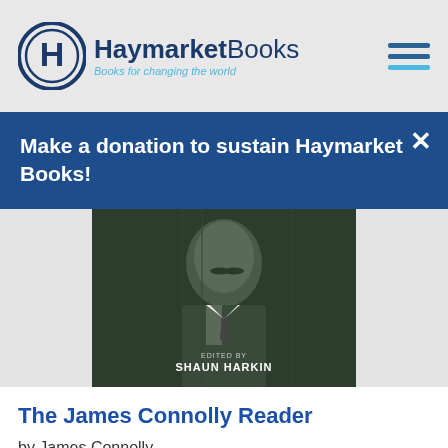Haymarket Books — Books for changing the world
Make a donation to sustain Haymarket Books!
[Figure (photo): Book cover of The James Connolly Reader, showing a historical black-and-white photo of a mustachioed man in a suit, edited by Shaun Harkin]
The James Connolly Reader
by James Connolly